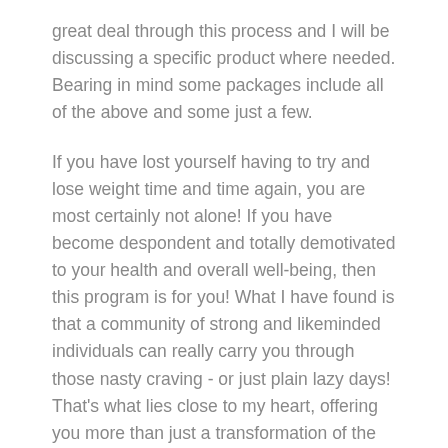great deal through this process and I will be discussing a specific product where needed. Bearing in mind some packages include all of the above and some just a few.
If you have lost yourself having to try and lose weight time and time again, you are most certainly not alone! If you have become despondent and totally demotivated to your health and overall well-being, then this program is for you! What I have found is that a community of strong and likeminded individuals can really carry you through those nasty craving - or just plain lazy days! That's what lies close to my heart, offering you more than just a transformation of the body, something deeper needs to get some attention too!
After these sixteen weeks, I would want you to be mentally stronger and that transformation should far outweigh physical transformation, even though that will be happening as well. Let’s “fix” you from the inside out. Now that is winning!